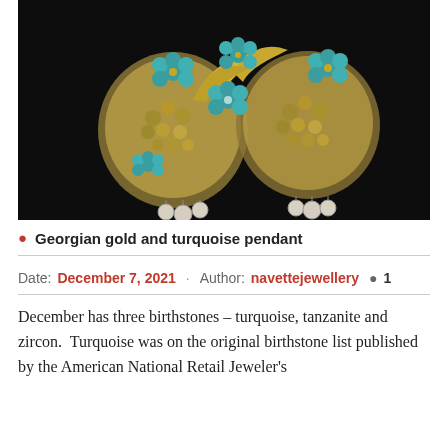[Figure (photo): Close-up photograph of Georgian gold and turquoise pendant jewelry with pearl drops against a dark background]
Georgian gold and turquoise pendant
Date: December 7, 2021  Author: navettejewellery  1
December has three birthstones – turquoise, tanzanite and zircon.  Turquoise was on the original birthstone list published by the American National Retail Jeweler's